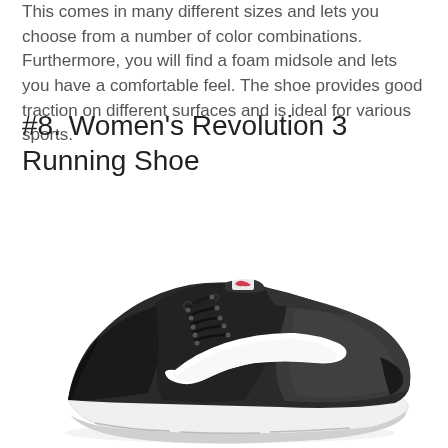This comes in many different sizes and lets you choose from a number of color combinations. Furthermore, you will find a foam midsole and lets you have a comfortable feel. The shoe provides good traction on different surfaces and is ideal for various sports.
#8. Women's Revolution 3 Running Shoe
[Figure (photo): Nike Women's Revolution 3 Running Shoe in black/dark grey with white swoosh logo and white midsole, shown from the side angle]